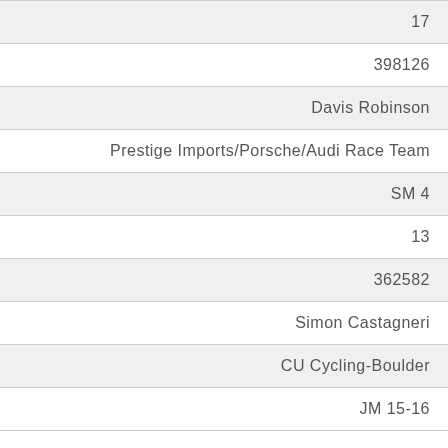| 17 |
| 398126 |
| Davis Robinson |
| Prestige Imports/Porsche/Audi Race Team |
| SM 4 |
| 13 |
| 362582 |
| Simon Castagneri |
| CU Cycling-Boulder |
| JM 15-16 |